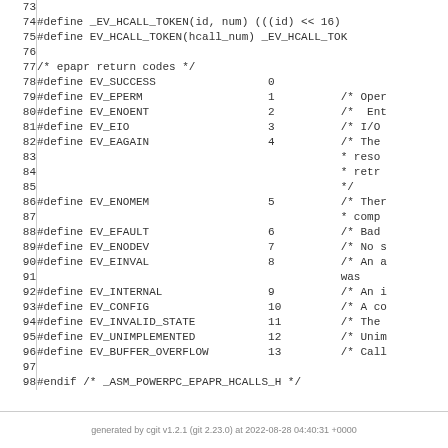[Figure (screenshot): Source code listing showing C preprocessor #define macros for epapr return codes, lines 73-98, including EV_SUCCESS through EV_BUFFER_OVERFLOW and #endif directive.]
generated by cgit v1.2.1 (git 2.23.0) at 2022-08-28 04:40:31 +0000